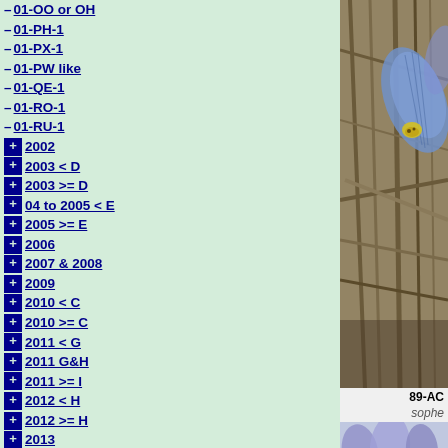– 01-OO or OH
– 01-PH-1
– 01-PX-1
– 01-PW like
– 01-QE-1
– 01-RO-1
– 01-RU-1
+ 2002
+ 2003 < D
+ 2003 >= D
+ 04 to 2005 < E
+ 2005 >= E
+ 2006
+ 2007 & 2008
+ 2009
+ 2010 < C
+ 2010 >= C
+ 2011 < G
+ 2011 G&H
+ 2011 >= I
+ 2012 < H
+ 2012 >= H
+ 2013
+ 2013 >=F
+ >= 2014
+ Other
– Iris adiyaman
– Iris bakeriana
[Figure (photo): Close-up photo of a blue/purple iris flower with yellow center markings, surrounded by dry grass stems]
89-AC
sophe
[Figure (photo): Bottom portion showing blue/purple iris flowers]